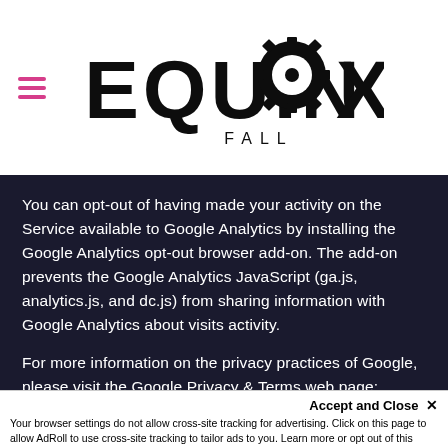[Figure (logo): EQUINOX FALL logo in large bold stylized font with a gear/sun icon inside the letter O]
You can opt-out of having made your activity on the Service available to Google Analytics by installing the Google Analytics opt-out browser add-on. The add-on prevents the Google Analytics JavaScript (ga.js, analytics.js, and dc.js) from sharing information with Google Analytics about visits activity.
For more information on the privacy practices of Google, please visit the Google Privacy & Terms web page: https://policies.google.com/privacy?hl=en
Accept and Close ✕
Your browser settings do not allow cross-site tracking for advertising. Click on this page to allow AdRoll to use cross-site tracking to tailor ads to you. Learn more or opt out of this AdRoll tracking by clicking here. This message only appears once.